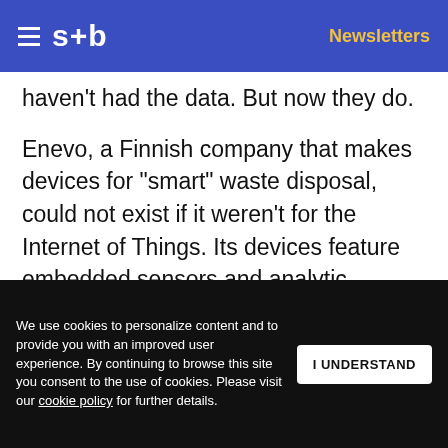s+b | Newsletters
haven’t had the data. But now they do.
Enevo, a Finnish company that makes devices for “smart” waste disposal, could not exist if it weren’t for the Internet of Things. Its devices feature embedded sensors and analytic software. They enable waste companies to plan pickups when waste bins are full, rather than at set time periods, making collection of
We use cookies to personalize content and to provide you with an improved user experience. By continuing to browse this site you consent to the use of cookies. Please visit our cookie policy for further details.